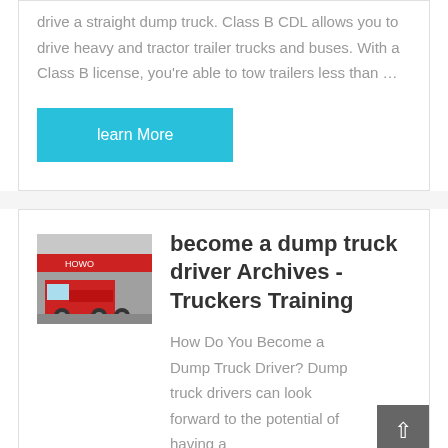drive a straight dump truck. Class B CDL allows you to drive heavy and tractor trailer trucks and buses. With a Class B license, you're able to tow trailers less than …
learn More
[Figure (photo): Red HOWO truck (semi/tractor unit) parked in front of a building with Chinese signage]
become a dump truck driver Archives - Truckers Training
How Do You Become a Dump Truck Driver? Dump truck drivers can look forward to the potential of having a